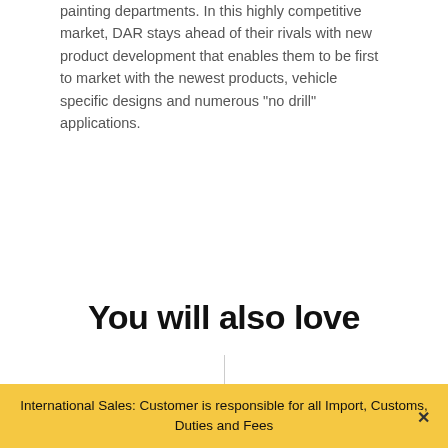painting departments. In this highly competitive market, DAR stays ahead of their rivals with new product development that enables them to be first to market with the newest products, vehicle specific designs and numerous "no drill" applications.
You will also love
International Sales: Customer is responsible for all Import, Customs, Duties and Fees